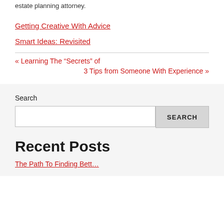estate planning attorney.
Getting Creative With Advice
Smart Ideas: Revisited
« Learning The “Secrets” of
3 Tips from Someone With Experience »
Search
Recent Posts
The Path To Finding Bett…